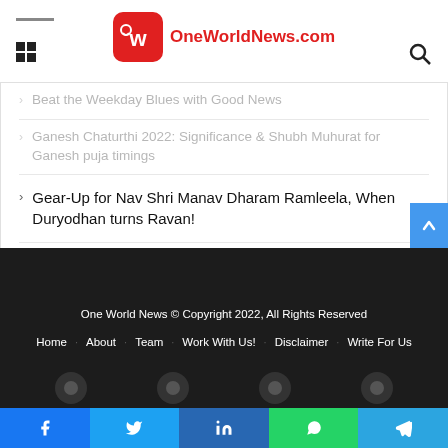OneWorldNews.com
Beat the Weekday Blues with Good News
Ganesh Chaturthi 2022: Significance & Shubh Muhurat for Ganesh puja timings
Gear-Up for Nav Shri Manav Dharam Ramleela, When Duryodhan turns Ravan!
Know about Best Car Rentals Services in Dubai
Fighting Fake News: 10 Truthbombs of the Week to Detox Your Feed
One World News © Copyright 2022, All Rights Reserved
Home · About · Team · Work With Us! · Disclaimer · Write For Us